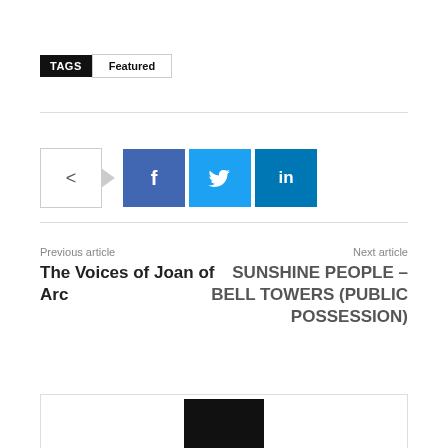TAGS  Featured
[Figure (infographic): Share buttons row: share icon box with arrow, Facebook (f), Twitter (bird), LinkedIn (in)]
Previous article
The Voices of Joan of Arc
Next article
SUNSHINE PEOPLE – BELL TOWERS (PUBLIC POSSESSION)
[Figure (photo): Bottom card with dark portrait photo partially visible]